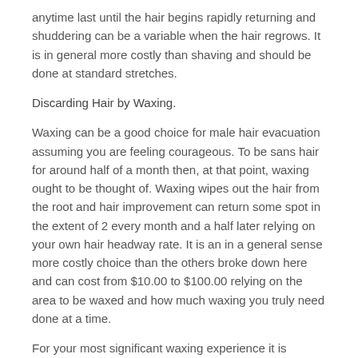anytime last until the hair begins rapidly returning and shuddering can be a variable when the hair regrows. It is in general more costly than shaving and should be done at standard stretches.
Discarding Hair by Waxing.
Waxing can be a good choice for male hair evacuation assuming you are feeling courageous. To be sans hair for around half of a month then, at that point, waxing ought to be thought of. Waxing wipes out the hair from the root and hair improvement can return some spot in the extent of 2 every month and a half later relying on your own hair headway rate. It is an in a general sense more costly choice than the others broke down here and can cost from $10.00 to $100.00 relying on the area to be waxed and how much waxing you truly need done at a time.
For your most significant waxing experience it is supported that